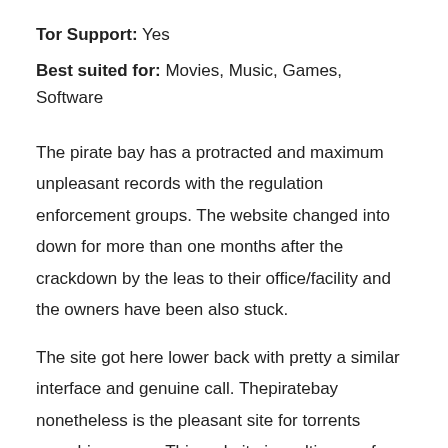Tor Support: Yes
Best suited for: Movies, Music, Games, Software
The pirate bay has a protracted and maximum unpleasant records with the regulation enforcement groups. The website changed into down for more than one months after the crackdown by the leas to their office/facility and the owners have been also stuck.
The site got here lower back with pretty a similar interface and genuine call. Thepiratebay nonetheless is the pleasant site for torrents searching users. This website is multi-area of interest and has torrents related to the movies, software program, apps, books, and person content material.